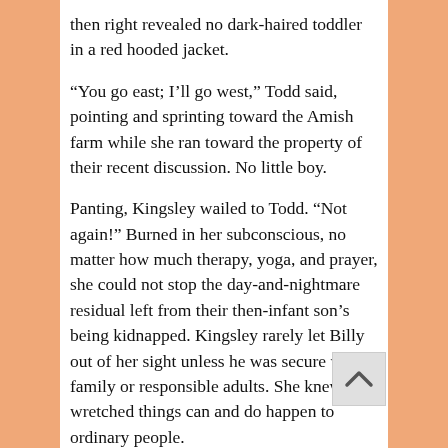then right revealed no dark-haired toddler in a red hooded jacket.
“You go east; I’ll go west,” Todd said, pointing and sprinting toward the Amish farm while she ran toward the property of their recent discussion. No little boy.
Panting, Kingsley wailed to Todd. “Not again!” Burned in her subconscious, no matter how much therapy, yoga, and prayer, she could not stop the day-and-nightmare residual left from their then-infant son’s being kidnapped. Kingsley rarely let Billy out of her sight unless he was secure with family or responsible adults. She knew that wretched things can and do happen to ordinary people.
Circling to the back lawn a second time where a play gym anchored the back-left corner, the